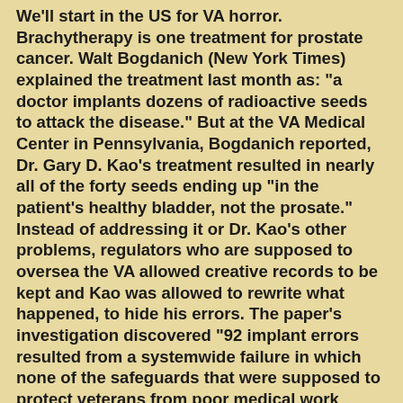We'll start in the US for VA horror. Brachytherapy is one treatment for prostate cancer. Walt Bogdanich (New York Times) explained the treatment last month as: "a doctor implants dozens of radioactive seeds to attack the disease." But at the VA Medical Center in Pennsylvania, Bogdanich reported, Dr. Gary D. Kao's treatment resulted in nearly all of the forty seeds ending up "in the patient's healthy bladder, not the prosate." Instead of addressing it or Dr. Kao's other problems, regulators who are supposed to oversea the VA allowed creative records to be kept and Kao was allowed to rewrite what happened, to hide his errors. The paper's investigation discovered "92 implant errors resulted from a systemwide failure in which none of the safeguards that were supposed to protect veterans from poor medical work worked". Josh Goldstein (Philadelphia Inquirer) reported last month, "It took officials more than six years to catch the mistakes, investigators said. When they were discovered last year, all brachytherapy treatments at the hospital were halted and remain so." That's some of the backstory. Today the House Veterans' Subcommittee on Oversight and Investigations, chaired by US House Rep Harry Mitchell, held a hearing entitled